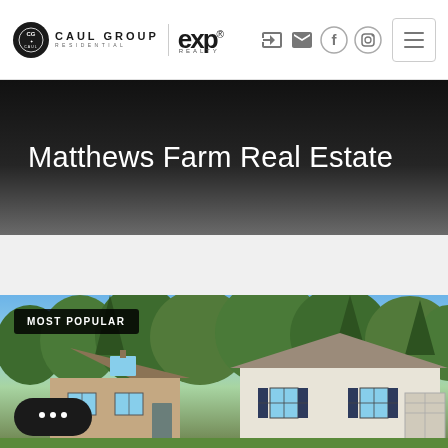[Figure (logo): Caul Group Residential logo with circular emblem and text, alongside eXp Realty logo]
[Figure (screenshot): Navigation header icons: sign-in arrow, envelope, Facebook circle, Instagram circle, and hamburger menu button]
Matthews Farm Real Estate
[Figure (photo): Exterior photo of residential homes with trees in background, showing two houses side by side. A 'MOST POPULAR' badge overlay is in the top left corner and a chat bubble button in the bottom left.]